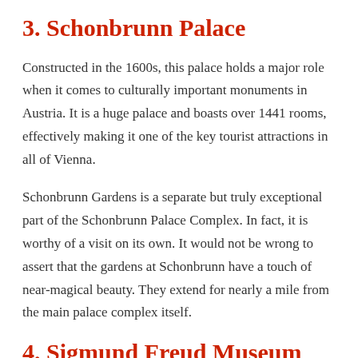3. Schonbrunn Palace
Constructed in the 1600s, this palace holds a major role when it comes to culturally important monuments in Austria. It is a huge palace and boasts over 1441 rooms, effectively making it one of the key tourist attractions in all of Vienna.
Schonbrunn Gardens is a separate but truly exceptional part of the Schonbrunn Palace Complex. In fact, it is worthy of a visit on its own. It would not be wrong to assert that the gardens at Schonbrunn have a touch of near-magical beauty. They extend for nearly a mile from the main palace complex itself.
4. Sigmund Freud Museum